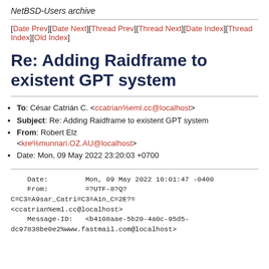NetBSD-Users archive
[Date Prev][Date Next][Thread Prev][Thread Next][Date Index][Thread Index][Old Index]
Re: Adding Raidframe to existent GPT system
To: César Catrián C. <ccatrian%eml.cc@localhost>
Subject: Re: Adding Raidframe to existent GPT system
From: Robert Elz <kre%munnari.OZ.AU@localhost>
Date: Mon, 09 May 2022 23:20:03 +0700
Date:         Mon, 09 May 2022 10:01:47 -0400
    From:         =?UTF-8?Q?
C=C3=A9sar_Catri=C3=A1n_C=2E?=
<ccatrian%eml.cc@localhost>
    Message-ID:   <b4108aae-5b20-4a0c-95d5-
dc97838be0e2%www.fastmail.com@localhost>